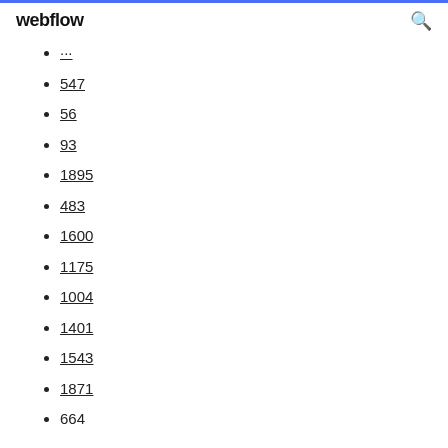webflow
...
547
56
93
1895
483
1600
1175
1004
1401
1543
1871
664